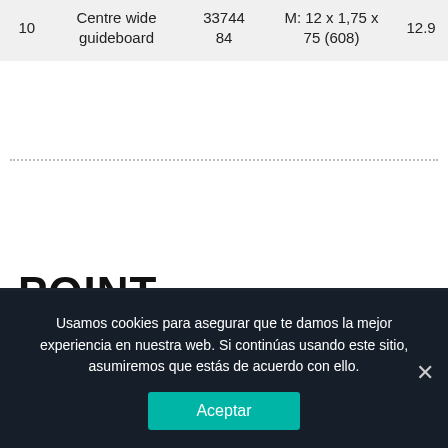| 10 | Centre wide guideboard | 33744
84 | M: 12 x 1,75 x 75 (608) | 12.9 |
POINT
Usamos cookies para asegurar que te damos la mejor experiencia en nuestra web. Si continúas usando este sitio, asumiremos que estás de acuerdo con ello.